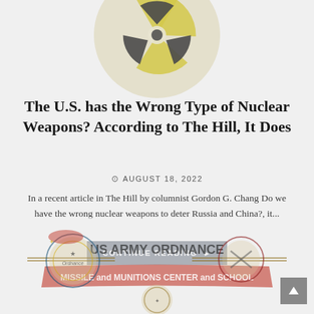[Figure (illustration): Radiation/nuclear hazard symbol (yellow and dark gray trefoil) partially visible at top of page, cropped]
The U.S. has the Wrong Type of Nuclear Weapons? According to The Hill, It Does
AUGUST 18, 2022
In a recent article in The Hill by columnist Gordon G. Chang Do we have the wrong nuclear weapons to deter Russia and China?, it...
CONTINUE READING
[Figure (logo): US Army Ordnance Missile and Munitions Center and School logo/insignia with military badges and decorative banner]